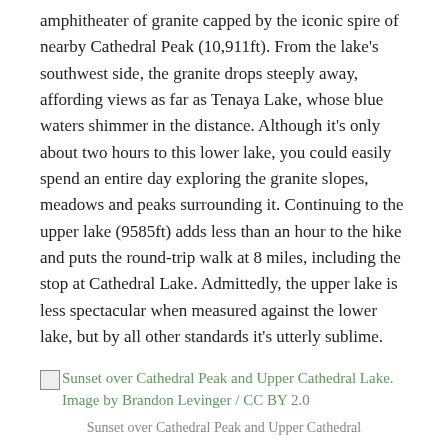amphitheater of granite capped by the iconic spire of nearby Cathedral Peak (10,911ft). From the lake's southwest side, the granite drops steeply away, affording views as far as Tenaya Lake, whose blue waters shimmer in the distance. Although it's only about two hours to this lower lake, you could easily spend an entire day exploring the granite slopes, meadows and peaks surrounding it. Continuing to the upper lake (9585ft) adds less than an hour to the hike and puts the round-trip walk at 8 miles, including the stop at Cathedral Lake. Admittedly, the upper lake is less spectacular when measured against the lower lake, but by all other standards it's utterly sublime.
[Figure (photo): Broken image placeholder with alt text: Sunset over Cathedral Peak and Upper Cathedral Lake. Image by Brandon Levinger / CC BY 2.0]
Sunset over Cathedral Peak and Upper Cathedral